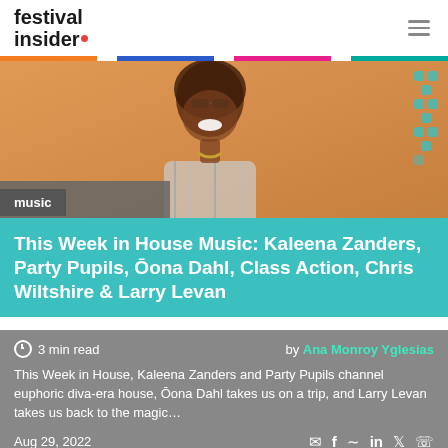festival insider.
[Figure (photo): Person with braids smiling, wearing sunglasses and plaid clothing, photographed against an orange background. Small teal geometric dots pattern on right side.]
music
This Week in House Music: Kaleena Zanders, Party Pupils, Ōona Dahl, Class Action, Chris Wiltshire & Larry Levan
3 min read   by Ana Monroy Yglesias
This Week in House, Kaleena Zanders and Party Pupils channel euphoric diva-era house, Ōona Dahl takes us on a trip, and Larry Levan takes us back to the magic…
Aug 29, 2022